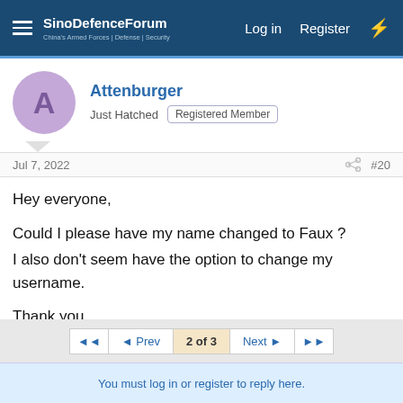SinoDefenceForum | Log in | Register
Attenburger
Just Hatched | Registered Member
Jul 7, 2022 #20
Hey everyone,

Could I please have my name changed to Faux ?
I also don't seem have the option to change my username.

Thank you
Hadoren and Loveleenkr
◄◄  ◄ Prev  2 of 3  Next ►  ►►
You must log in or register to reply here.